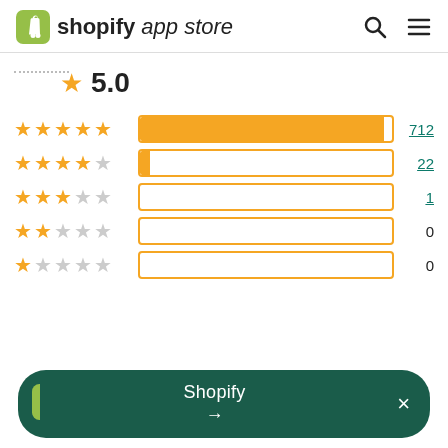shopify app store
[Figure (bar-chart): Rating distribution]
★ 5.0
Shopify →